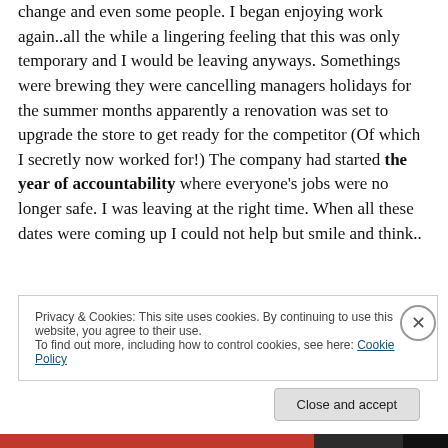change and even some people. I began enjoying work again..all the while a lingering feeling that this was only temporary and I would be leaving anyways. Somethings were brewing they were cancelling managers holidays for the summer months apparently a renovation was set to upgrade the store to get ready for the competitor (Of which I secretly now worked for!) The company had started the year of accountability where everyone's jobs were no longer safe. I was leaving at the right time. When all these dates were coming up I could not help but smile and think..
Privacy & Cookies: This site uses cookies. By continuing to use this website, you agree to their use.
To find out more, including how to control cookies, see here: Cookie Policy